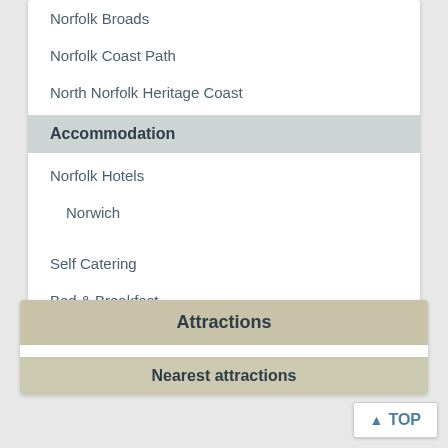Norfolk Broads
Norfolk Coast Path
North Norfolk Heritage Coast
Accommodation
Norfolk Hotels
Norwich
Self Catering
Bed & Breakfast
Attractions
Nearest attractions